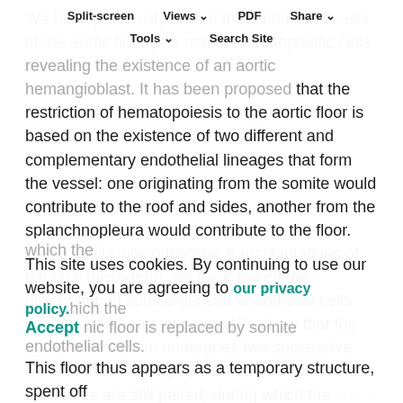Split-screen | Views | PDF | Share | Tools | Search Site
We have previously shown that endothelial cells of the aortic floor give rise to hematopoietic cells, revealing the existence of an aortic hemangioblast. It has been proposed that the restriction of hematopoiesis to the aortic floor is based on the existence of two different and complementary endothelial lineages that form the vessel: one originating from the somite would contribute to the roof and sides, another from the splanchnopleura would contribute to the floor. Using quail/chick orthotopic transplantations of paraxial mesoderm, we have traced the distribution of somite-derived endothelial cells during aortic hematopoiesis. We show that the aortic endothelium undergoes two successive waves of remodeling by somitic cells: one when the aortae are still paired, during which the [cookie banner overlaps] and a [text continues] which the [text continues] nic floor is replaced by somite endothelial cells. This floor thus appears as a temporary structure, spent off
This site uses cookies. By continuing to use our website, you are agreeing to our privacy policy. Accept